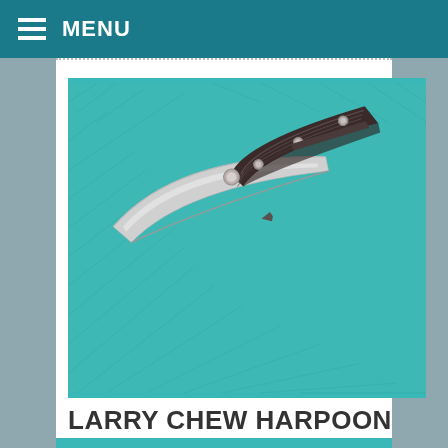MENU
[Figure (photo): A folding pocket knife (Larry Chew Harpoon Slayer) with a silver blade, dark carbon fiber patterned handle with silver screws, displayed open on a teal/turquoise textured fabric background.]
LARRY CHEW HARPOON SLAYER